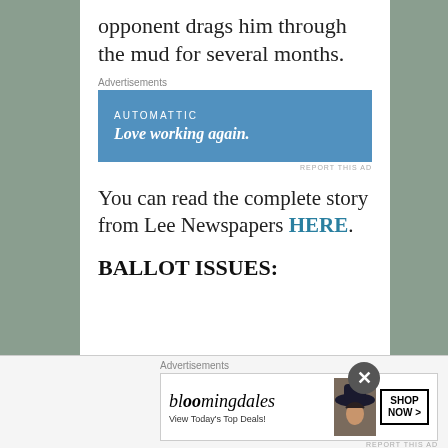opponent drags him through the mud for several months.
Advertisements
[Figure (other): Automattic advertisement banner: blue background with text 'AUTOMATTIC' and 'Love working again.']
You can read the complete story from Lee Newspapers HERE.
BALLOT ISSUES:
Advertisements
[Figure (other): Bloomingdale's advertisement with logo, text 'View Today's Top Deals!', woman with hat image, and 'SHOP NOW >' button.]